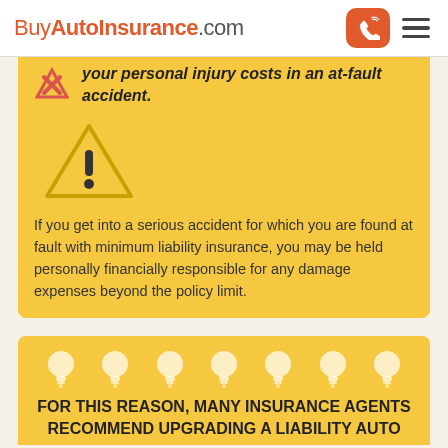BuyAutoInsurance.com
Your personal injury costs in an at-fault accident.
[Figure (infographic): Yellow warning triangle with exclamation mark icon]
If you get into a serious accident for which you are found at fault with minimum liability insurance, you may be held personally financially responsible for any damage expenses beyond the policy limit.
FOR THIS REASON, MANY INSURANCE AGENTS RECOMMEND UPGRADING A LIABILITY AUTO